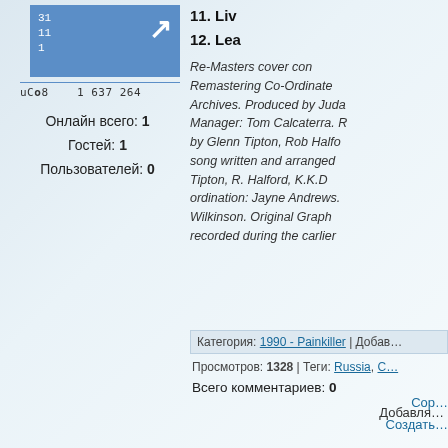[Figure (screenshot): Blue counter widget showing numbers 31, 11, 1 with an arrow icon]
uCoz  1 637 264
Онлайн всего: 1
Гостей: 1
Пользователей: 0
11. Liv
12. Lea
Re-Masters cover con... Remastering Co-Ordinate... Archives. Produced by Juda... Manager: Tom Calcaterra. R... by Glenn Tipton, Rob Halfo... song written and arranged ... Tipton, R. Halford, K.K.D... ordination: Jayne Andrews. ... Wilkinson. Original Graph... recorded during the carlier...
Категория: 1990 - Painkiller | Добав...
Просмотров: 1328 | Теги: Russia, С...
Всего комментариев: 0
Добавля...
Соp...
Создать...